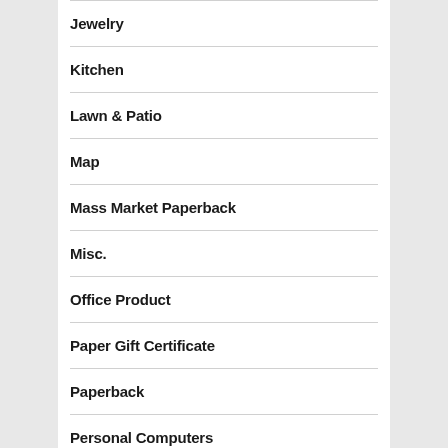Jewelry
Kitchen
Lawn & Patio
Map
Mass Market Paperback
Misc.
Office Product
Paper Gift Certificate
Paperback
Personal Computers